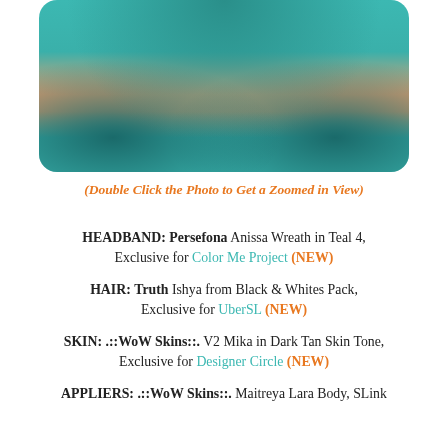[Figure (photo): Screenshot of a virtual world avatar wearing a teal dress, cropped showing lower body, with a decorative rug and furniture in background]
(Double Click the Photo to Get a Zoomed in View)
HEADBAND:  Persefona Anissa Wreath in Teal 4, Exclusive for Color Me Project (NEW)
HAIR:  Truth Ishya from Black & Whites Pack, Exclusive for UberSL (NEW)
SKIN:  .::WoW Skins::. V2 Mika in Dark Tan Skin Tone, Exclusive for Designer Circle (NEW)
APPLIERS:  .::WoW Skins::. Maitreya Lara Body, SLink